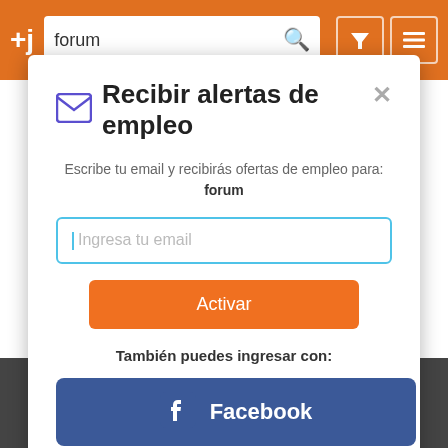[Figure (screenshot): Job alert subscription modal dialog on a job search website. Orange top navigation bar with '+j' logo, search box with 'forum', search icon, filter and menu icons. White modal with envelope icon, title 'Recibir alertas de empleo', email input, orange 'Activar' button, Facebook login button, and terms checkbox. Dark background strip at bottom with 'Acepto' button.]
Recibir alertas de empleo
Escribe tu email y recibirás ofertas de empleo para: forum
Ingresa tu email
Activar
También puedes ingresar con:
Facebook
He leído y acepto los Términos y Condiciones
Acepto